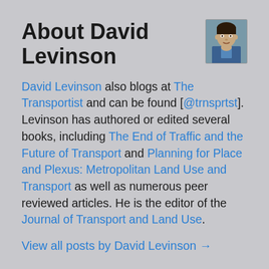About David Levinson
[Figure (photo): Portrait photo of David Levinson, a man in a blue shirt]
David Levinson also blogs at The Transportist and can be found [@trnsprtst]. Levinson has authored or edited several books, including The End of Traffic and the Future of Transport and Planning for Place and Plexus: Metropolitan Land Use and Transport as well as numerous peer reviewed articles. He is the editor of the Journal of Transport and Land Use.
View all posts by David Levinson →